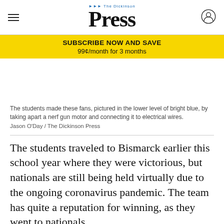The Dickinson Press
SUBSCRIBE NOW AND SAVE
99¢/month for 3 months
The students made these fans, pictured in the lower level of bright blue, by taking apart a nerf gun motor and connecting it to electrical wires.
Jason O'Day / The Dickinson Press
The students traveled to Bismarck earlier this school year where they were victorious, but nationals are still being held virtually due to the ongoing coronavirus pandemic. The team has quite a reputation for winning, as they went to nationals